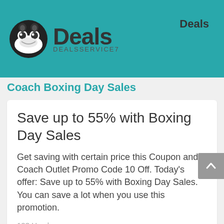Deals DEALSSERVICE7 | Deals
Coach Boxing Day Sales
Save up to 55% with Boxing Day Sales
Get saving with certain price this Coupon and Coach Outlet Promo Code 10 Off. Today's offer: Save up to 55% with Boxing Day Sales. You can save a lot when you use this promotion.
123 Used